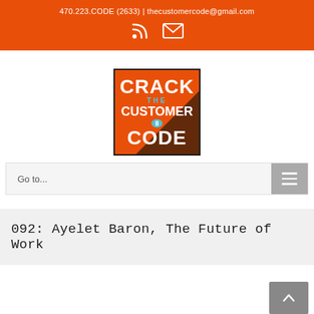470.223.CODE (2633) | thecustomercode@gmail.com
[Figure (logo): Crack The Customer Code podcast logo - orange square with dark shadow, white bold text CRACK THE CUSTOMER CODE with microphone icon]
Go to...
092: Ayelet Baron, The Future of Work
< Previous  Next >